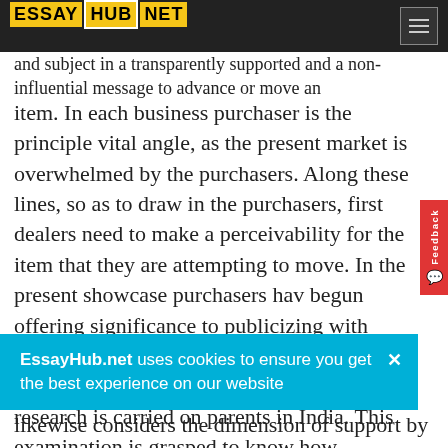ESSAYHUB.NET
and subject in a transparently supported and a non-influential message to advance or move an item. In each business purchaser is the principle vital angle, as the present market is overwhelmed by the purchasers. Along these lines, so as to draw in the purchasers, first dealers need to make a perceivability for the item that they are attempting to move. In the present showcase purchasers have begun offering significance to publicizing with respect to the sponsors it is the most essential intends to impact the potential clients. The research is carried on parents in India. This examination is grasped to know how reasonably advertisements impacts on youngsters' conduct.
hink about the ions and their amination likewise considers the dimension of support by the
EssayHub.net uses cookies to ensure you get the best experience on our website